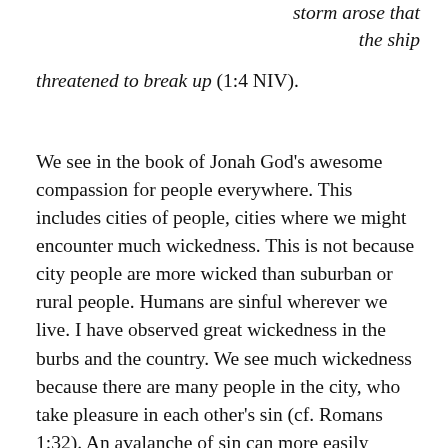storm arose that the ship threatened to break up (1:4 NIV).
We see in the book of Jonah God's awesome compassion for people everywhere. This includes cities of people, cities where we might encounter much wickedness. This is not because city people are more wicked than suburban or rural people. Humans are sinful wherever we live. I have observed great wickedness in the burbs and the country. We see much wickedness because there are many people in the city, who take pleasure in each other's sin (cf. Romans 1:32). An avalanche of sin can more easily occur. Yet in his mercy God